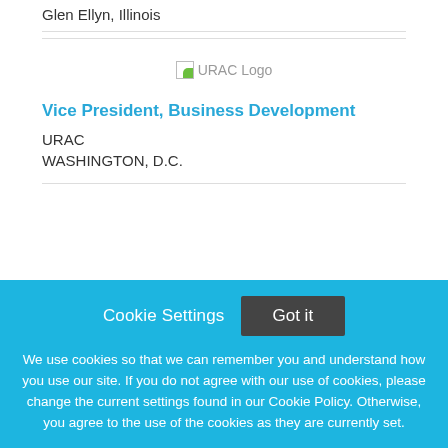Glen Ellyn, Illinois
[Figure (logo): URAC Logo placeholder image]
Vice President, Business Development
URAC
WASHINGTON, D.C.
Cookie Settings  Got it

We use cookies so that we can remember you and understand how you use our site. If you do not agree with our use of cookies, please change the current settings found in our Cookie Policy. Otherwise, you agree to the use of the cookies as they are currently set.